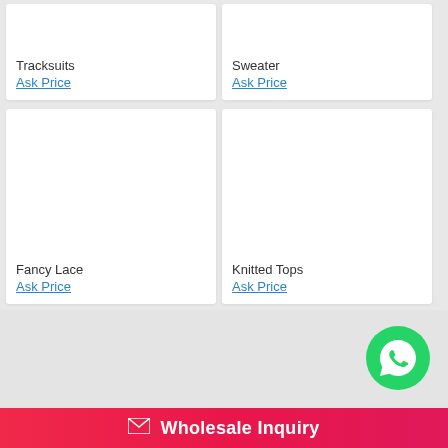Tracksuits
Ask Price
Sweater
Ask Price
Fancy Lace
Ask Price
Knitted Tops
Ask Price
[Figure (logo): WhatsApp circular green button with phone receiver icon]
Wholesale Inquiry